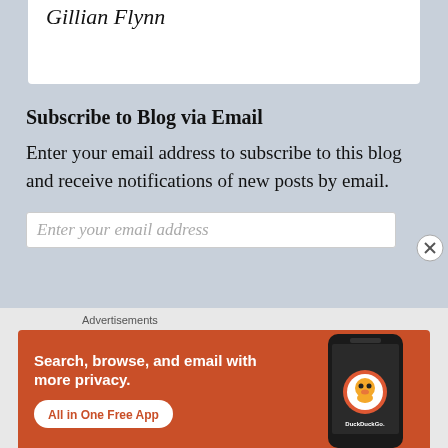Gillian Flynn
Subscribe to Blog via Email
Enter your email address to subscribe to this blog and receive notifications of new posts by email.
Enter your email address
Advertisements
[Figure (illustration): DuckDuckGo advertisement banner with orange background showing 'Search, browse, and email with more privacy. All in One Free App' with a phone graphic and DuckDuckGo logo]